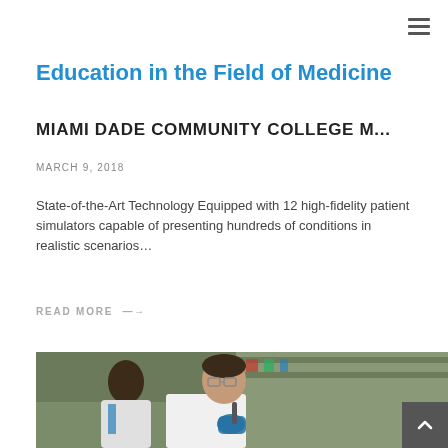≡ (hamburger menu)
Education in the Field of Medicine
MIAMI DADE COMMUNITY COLLEGE M...
MARCH 9, 2018
State-of-the-Art Technology Equipped with 12 high-fidelity patient simulators capable of presenting hundreds of conditions in realistic scenarios…
READ MORE →
[Figure (photo): A scientist or lab technician in a white coat and blue gloves working in a laboratory, with another person in the background.]